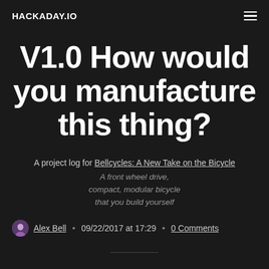HACKADAY.IO
V1.0 How would you manufacture this thing?
A project log for Bellcycles: A New Take on the Bicycle
A front wheel drive, compact, modular bicycle that you build yourself
Alex Bell • 09/22/2017 at 17:29 • 0 Comments